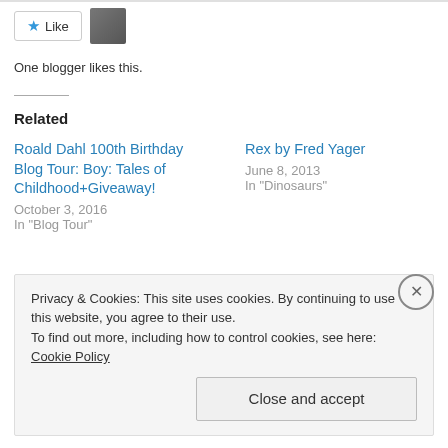[Figure (other): Like button with star icon and user avatar photo]
One blogger likes this.
Related
Roald Dahl 100th Birthday Blog Tour: Boy: Tales of Childhood+Giveaway!
October 3, 2016
In "Blog Tour"
Rex by Fred Yager
June 8, 2013
In "Dinosaurs"
48 Hour Book Challenge Finish Line!
June 9, 2013
Privacy & Cookies: This site uses cookies. By continuing to use this website, you agree to their use.
To find out more, including how to control cookies, see here: Cookie Policy
Close and accept